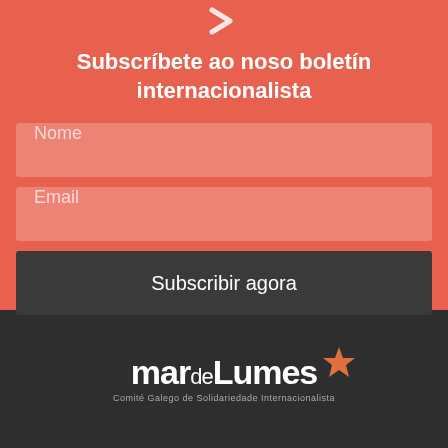[Figure (other): Right-pointing chevron arrow icon in salmon/red color at the top of the page]
Subscríbete ao noso boletín internacionalista
Nome
Email
Subscribir agora
[Figure (logo): Mar de Lumes logo — handwritten-style white text reading 'mar de Lumes' with an orange/red star, subtitle reads 'Comité Galego de Solidariedade Internacionalista' on a dark background]